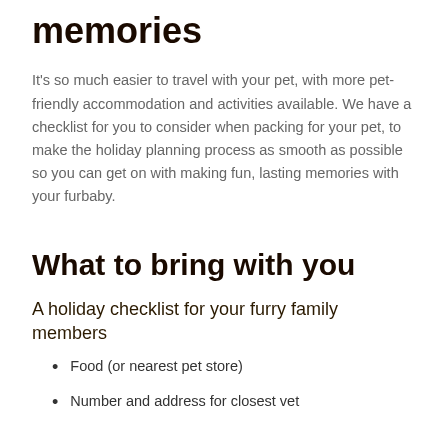memories
It's so much easier to travel with your pet, with more pet-friendly accommodation and activities available. We have a checklist for you to consider when packing for your pet, to make the holiday planning process as smooth as possible so you can get on with making fun, lasting memories with your furbaby.
What to bring with you
A holiday checklist for your furry family members
Food (or nearest pet store)
Number and address for closest vet